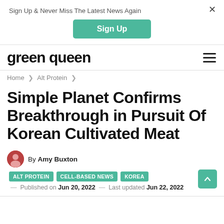Sign Up & Never Miss The Latest News Again
Sign Up
green queen
Home > Alt Protein >
Simple Planet Confirms Breakthrough in Pursuit Of Korean Cultivated Meat
By Amy Buxton
ALT PROTEIN   CELL-BASED NEWS   KOREA
— Published on Jun 20, 2022 — Last updated Jun 22, 2022